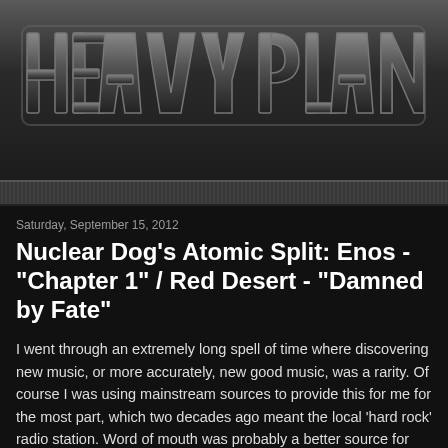[Figure (logo): Heavy Planet logo in metallic angular block lettering on dark background]
Saturday, September 15, 2012
Nuclear Dog's Atomic Split: Enos - "Chapter 1" / Red Desert - "Damned by Fate"
I went through an extremely long spell of time where discovering new music, or more accurately, new good music, was a rarity. Of course I was using mainstream sources to provide this for me for the most part, which two decades ago meant the local 'hard rock' radio station. Word of mouth was probably a better source for discovering new music that was worth listening to back then, but no matter the source, rare was the new album that had me stitching my face back on